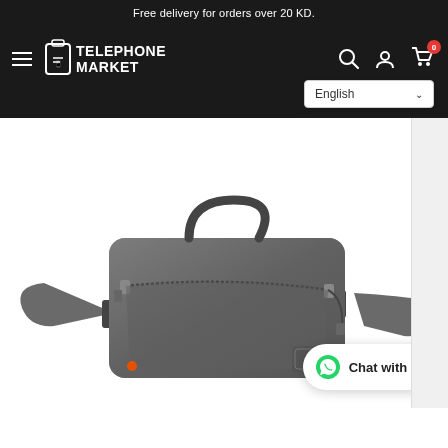Free delivery for orders over 20 KD.
[Figure (logo): Telephone Market logo with hamburger menu, search, account, and cart icons. Language selector showing English.]
[Figure (photo): Grey crossbody/sling bag with a top handle, zipper pocket on front, shoulder strap on sides, and a small orange accent logo at bottom left corner. Product shown on white background.]
Chat with us